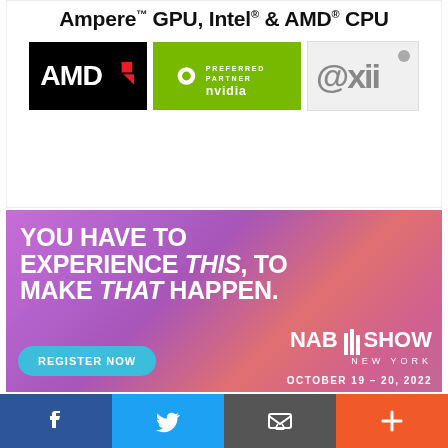[Figure (advertisement): Ad banner for @xii featuring AMD, NVIDIA Preferred Partner, and @xii logos with text 'Ampere™ GPU, Intel® & AMD® CPU']
[Figure (advertisement): NAB Show New York advertisement with purple/pink gradient background. Text: 'YOU HAVE TO EXPERIENCE THIS, TO MAKE THAT HAPPEN.' with NAB Show New York logo, REGISTER NOW button, and date October 19-20, 2022]
[Figure (infographic): Social media share bar with four buttons: Facebook (blue), Twitter (light blue), Email (grey), Add/Plus (orange-red)]